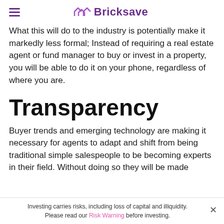Bricksave
What this will do to the industry is potentially make it markedly less formal; Instead of requiring a real estate agent or fund manager to buy or invest in a property, you will be able to do it on your phone, regardless of where you are.
Transparency
Buyer trends and emerging technology are making it necessary for agents to adapt and shift from being traditional simple salespeople to be becoming experts in their field. Without doing so they will be made
Investing carries risks, including loss of capital and illiquidity. Please read our Risk Warning before investing.